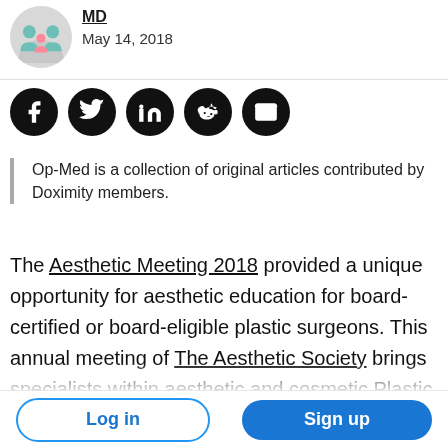MD
May 14, 2018
[Figure (infographic): Social share icons: Facebook, Twitter, LinkedIn, Reddit, Email — all black circular buttons]
Op-Med is a collection of original articles contributed by Doximity members.
The Aesthetic Meeting 2018 provided a unique opportunity for aesthetic education for board-certified or board-eligible plastic surgeons. This annual meeting of The Aesthetic Society brings specialists within aesthetic and cosmetic Plastic
Log in    Sign up